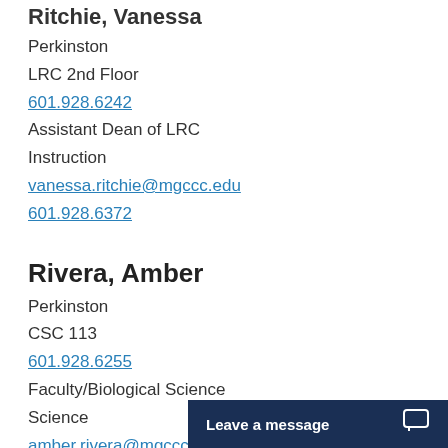Ritchie, Vanessa
Perkinston
LRC 2nd Floor
601.928.6242
Assistant Dean of LRC
Instruction
vanessa.ritchie@mgccc.edu
601.928.6372
Rivera, Amber
Perkinston
CSC 113
601.928.6255
Faculty/Biological Science
Science
amber.rivera@mgccc.edu
601.528.8946